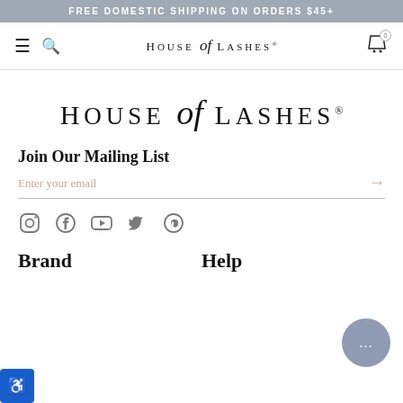FREE DOMESTIC SHIPPING ON ORDERS $45+
[Figure (logo): House of Lashes logo in navigation bar]
[Figure (logo): House of Lashes large center logo]
Join Our Mailing List
Enter your email
[Figure (infographic): Social media icons: Instagram, Facebook, YouTube, Twitter, Pinterest]
Brand
Help